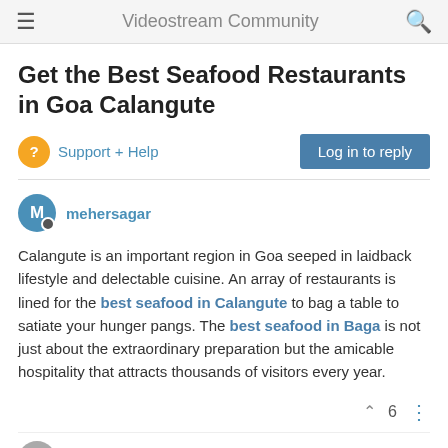Videostream Community
Get the Best Seafood Restaurants in Goa Calangute
Support + Help
Log in to reply
mehersagar
Calangute is an important region in Goa seeped in laidback lifestyle and delectable cuisine. An array of restaurants is lined for the best seafood in Calangute to bag a table to satiate your hunger pangs. The best seafood in Baga is not just about the extraordinary preparation but the amicable hospitality that attracts thousands of visitors every year.
6